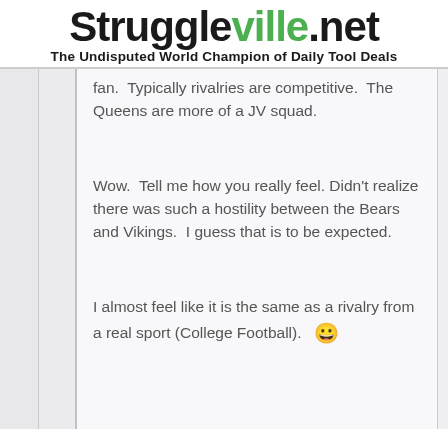Struggleville.net — The Undisputed World Champion of Daily Tool Deals
fan.  Typically rivalries are competitive.  The Queens are more of a JV squad.
Wow.  Tell me how you really feel.  Didn't realize there was such a hostility between the Bears and Vikings.  I guess that is to be expected.
I almost feel like it is the same as a rivalry from a real sport (College Football).  😀